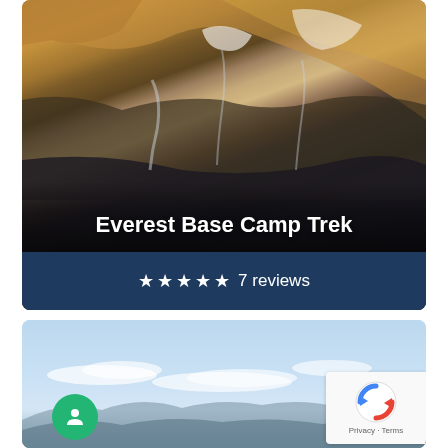[Figure (photo): Aerial photo of snow-covered rocky mountain peaks (Everest area) with brown/golden rocky upper portions and dark snow-covered lower areas]
Everest Base Camp Trek
★★★★★ 7 reviews
[Figure (photo): Landscape photo showing blue sky with scattered clouds and mountain silhouettes at the bottom, likely a lake or plateau scene]
[Figure (other): reCAPTCHA badge with circular arrow logo and 'Privacy - Terms' text]
[Figure (other): Green circular chat/messenger button with person icon]